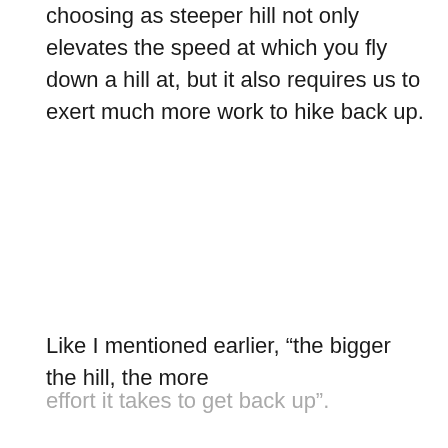choosing as steeper hill not only elevates the speed at which you fly down a hill at, but it also requires us to exert much more work to hike back up.
Like I mentioned earlier, “the bigger the hill, the more effort it takes to get back up”.